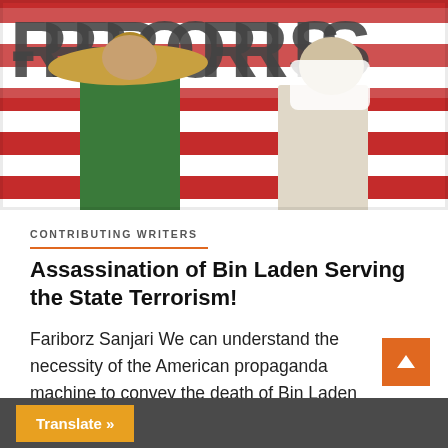[Figure (photo): Protest photo showing people holding a banner with 'TERRORIS...' text written on what appears to be a red and white striped American flag. Protesters visible in foreground, one wearing a conical Asian hat.]
CONTRIBUTING WRITERS
Assassination of Bin Laden Serving the State Terrorism!
Fariborz Sanjari We can understand the necessity of the American propaganda machine to convey the death of Bin Laden the way...